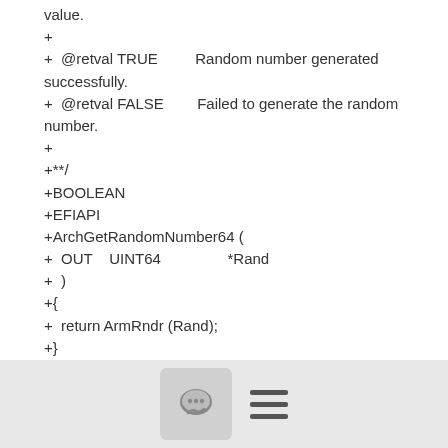value.
+
+  @retval TRUE         Random number generated successfully.
+  @retval FALSE        Failed to generate the random number.
+
+**/
+BOOLEAN
+EFIAPI
+ArchGetRandomNumber64 (
+  OUT    UINT64                *Rand
+  )
+{
+  return ArmRndr (Rand);
+}
+
+/**
+  Checks whether RNDR and RNDRRS (FEAT_RNG) are supported.
+
+  @
[Figure (other): Bottom toolbar with a comment/chat icon button and a hamburger menu icon]